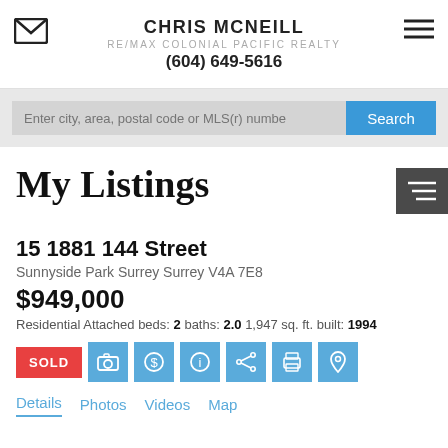CHRIS MCNEILL
RE/MAX COLONIAL PACIFIC REALTY
(604) 649-5616
My Listings
15 1881 144 Street
Sunnyside Park Surrey Surrey V4A 7E8
$949,000
Residential Attached beds: 2 baths: 2.0 1,947 sq. ft. built: 1994
Details  Photos  Videos  Map